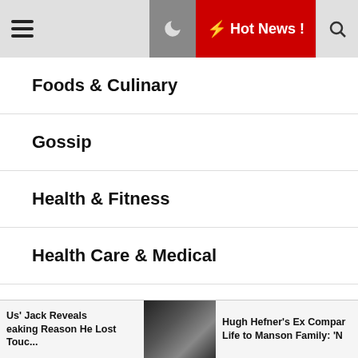Navigation bar with hamburger menu, moon icon, Hot News button, and search icon
Foods & Culinary
Gossip
Health & Fitness
Health Care & Medical
Hollywood News
Home Products & Services
Hot Gossip
Us' Jack Reveals eaking Reason He Lost Touc... | [photo] | Hugh Hefner's Ex Compar Life to Manson Family: 'N